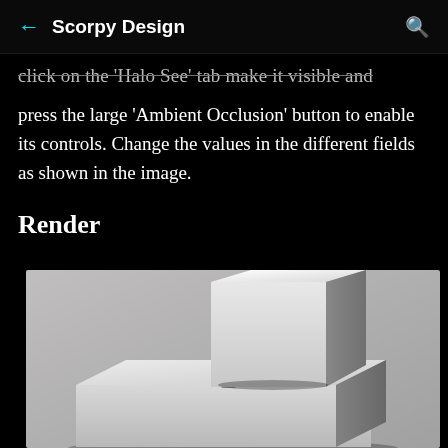← Scorpy Design 🔍
click on the 'Halo See' tab make it visible and press the large 'Ambient Occlusion' button to enable its controls. Change the values in the different fields as shown in the image.
Render
[Figure (photo): 3D render of two gray rectangular box shapes stacked and arranged in a T-formation, showing ambient occlusion shadows between and beneath the boxes on a gray background.]